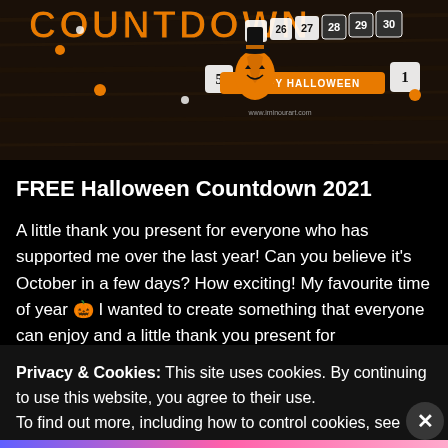[Figure (photo): Halloween countdown calendar image with dark wood background, orange and white text COUNTDOWN, numbered boxes 25-31, pumpkin character sticker, HAPPY HALLOWEEN banner, orange dots]
FREE Halloween Countdown 2021
A little thank you present for everyone who has supported me over the last year! Can you believe it’s October in a few days? How exciting! My favourite time of year 🎃 I wanted to create something that everyone can enjoy and a little thank you present for
Privacy & Cookies: This site uses cookies. By continuing to use this website, you agree to their use.
To find out more, including how to control cookies, see here: Cookie Policy.
Close and accept